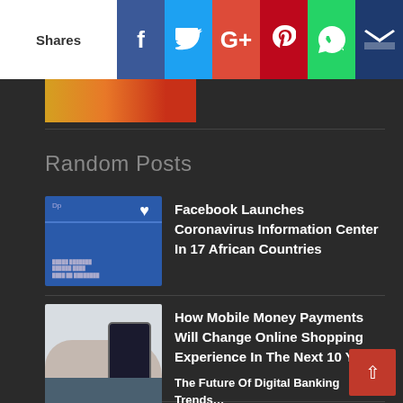Shares | Facebook | Twitter | Google+ | Pinterest | WhatsApp | Crown
[Figure (screenshot): Thumbnail image of food/orange colored content at top]
Random Posts
[Figure (screenshot): Facebook Coronavirus Information Center screenshot thumbnail]
Facebook Launches Coronavirus Information Center In 17 African Countries
[Figure (photo): Person holding smartphone thumbnail]
How Mobile Money Payments Will Change Online Shopping Experience In The Next 10 Years
[Figure (photo): Blue books thumbnail for Mobile Money Charges]
Mobile Money Charges In Cameroon MTN
The Future Of Digital Banking Trends...